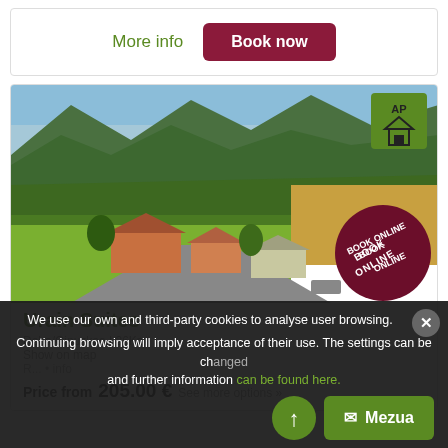More info
Book now
[Figure (photo): Aerial photo of Urain Suites rural property with red-roofed farmhouses set in green mountain valley, with Book Online circle badge and AP house badge overlay]
Urain Suites
Deba/Gipuzkoa | 26Km.
Show on map
R... info
Price from   205.00 €   See more options »
We use our own and third-party cookies to analyse user browsing. Continuing browsing will imply acceptance of their use. The settings can be changed and further information can be found here.
Mezua